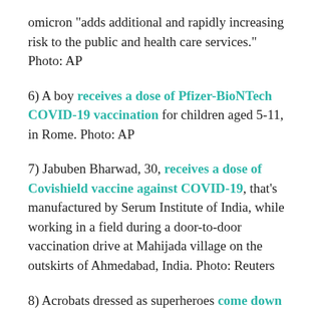omicron "adds additional and rapidly increasing risk to the public and health care services." Photo: AP
6) A boy receives a dose of Pfizer-BioNTech COVID-19 vaccination for children aged 5-11, in Rome. Photo: AP
7) Jabuben Bharwad, 30, receives a dose of Covishield vaccine against COVID-19, that's manufactured by Serum Institute of India, while working in a field during a door-to-door vaccination drive at Mahijada village on the outskirts of Ahmedabad, India. Photo: Reuters
8) Acrobats dressed as superheroes come down from the roofs to make a surprise greeting at the windows of the rooms of the little patients in pediatrics and of all the patients at the San Paolo hospital in Milan. It al...